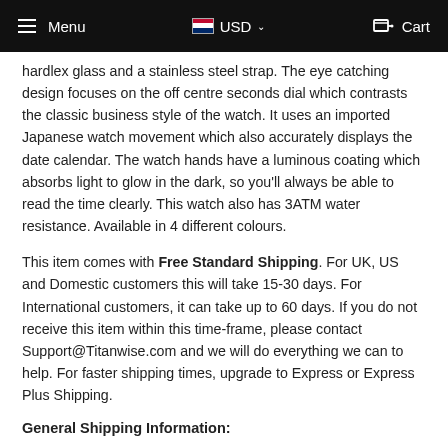Menu  USD  Cart
hardlex glass and a stainless steel strap. The eye catching design focuses on the off centre seconds dial which contrasts the classic business style of the watch. It uses an imported Japanese watch movement which also accurately displays the date calendar. The watch hands have a luminous coating which absorbs light to glow in the dark, so you'll always be able to read the time clearly. This watch also has 3ATM water resistance. Available in 4 different colours.
This item comes with Free Standard Shipping. For UK, US and Domestic customers this will take 15-30 days. For International customers, it can take up to 60 days. If you do not receive this item within this time-frame, please contact Support@Titanwise.com and we will do everything we can to help. For faster shipping times, upgrade to Express or Express Plus Shipping.
General Shipping Information:
Standard Shipping - 15-30 Days. Tracked.